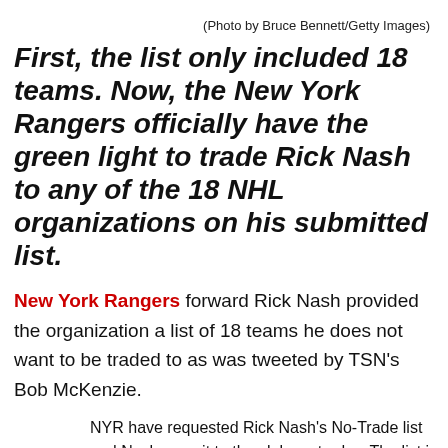(Photo by Bruce Bennett/Getty Images)
First, the list only included 18 teams. Now, the New York Rangers officially have the green light to trade Rick Nash to any of the 18 NHL organizations on his submitted list.
New York Rangers forward Rick Nash provided the organization a list of 18 teams he does not want to be traded to as was tweeted by TSN’s Bob McKenzie.
NYR have requested Rick Nash’s No-Trade list and Nash gave it to the club yesterday. The list is 18 teams Nash cannot be traded to (unless he were to waive his NTC). Conversely, NYR now have the green light to